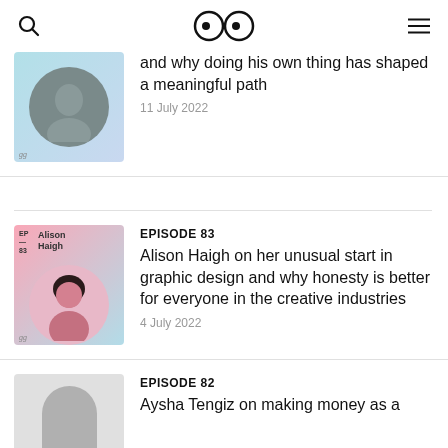GG (logo with eyes icon)
and why doing his own thing has shaped a meaningful path
11 July 2022
EPISODE 83
Alison Haigh on her unusual start in graphic design and why honesty is better for everyone in the creative industries
4 July 2022
EPISODE 82
Aysha Tengiz on making money as a